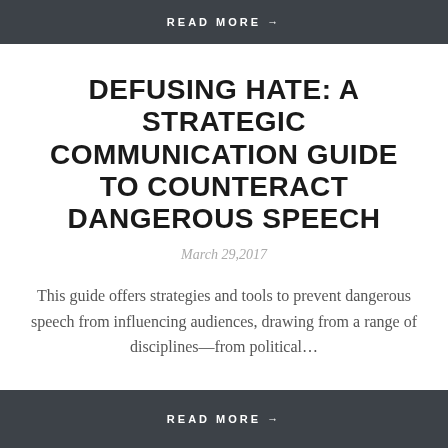READ MORE →
DEFUSING HATE: A STRATEGIC COMMUNICATION GUIDE TO COUNTERACT DANGEROUS SPEECH
March 29,2017
This guide offers strategies and tools to prevent dangerous speech from influencing audiences, drawing from a range of disciplines—from political…
READ MORE →